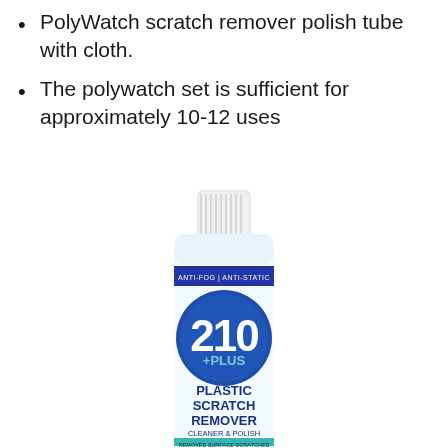PolyWatch scratch remover polish tube with cloth.
The polywatch set is sufficient for approximately 10-12 uses
[Figure (photo): 210 +PLUS Plastic Scratch Remover Cleaner & Polish bottle with white cap, blue label showing 210 PLUS logo, ANTI-FOG | ANTI-STATIC text, PLASTIC SCRATCH REMOVER CLEANER & POLISH, REMOVES SURFACE SCRATCHES, DEEP-CLEANS, USE ON LEXAN, PLEXIGLAS, LUCITE, ACRYLITE, SINGLASS]